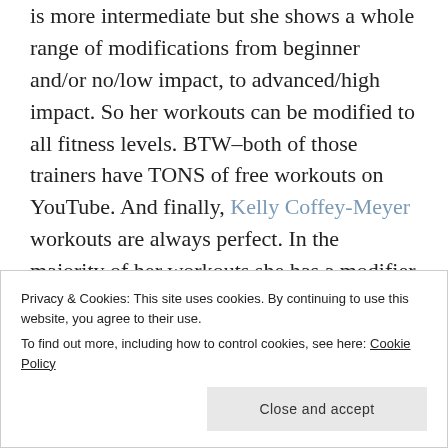is more intermediate but she shows a whole range of modifications from beginner and/or no/low impact, to advanced/high impact. So her workouts can be modified to all fitness levels. BTW–both of those trainers have TONS of free workouts on YouTube. And finally, Kelly Coffey-Meyer workouts are always perfect. In the majority of her workouts she has a modifier showing modifications to almost every exercise. She has
Privacy & Cookies: This site uses cookies. By continuing to use this website, you agree to their use.
To find out more, including how to control cookies, see here: Cookie Policy